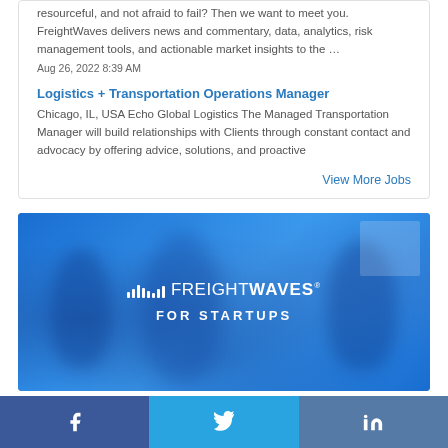resourceful, and not afraid to fail? Then we want to meet you. FreightWaves delivers news and commentary, data, analytics, risk management tools, and actionable market insights to the …
Aug 26, 2022 8:39 AM
Logistics + Transportation Operations Manager
Chicago, IL, USA Echo Global Logistics The Managed Transportation Manager will build relationships with Clients through constant contact and advocacy by offering advice, solutions, and proactive
View More Jobs
[Figure (photo): Blue banner image with blurred office/meeting scene in background. White logo reads FREIGHTWAVES FOR STARTUPS with bar chart icon.]
Facebook  Twitter  in